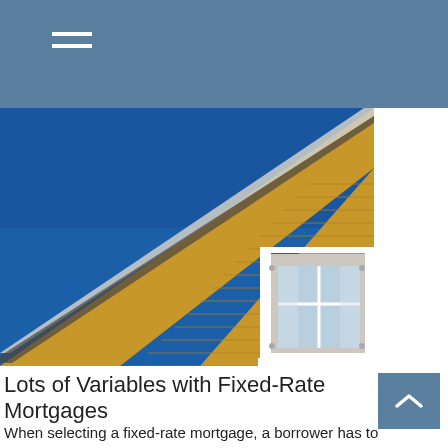[Figure (photo): Photograph of a yellow-shingled house roof with a white dormer window against a deep blue sky.]
Lots of Variables with Fixed-Rate Mortgages
When selecting a fixed-rate mortgage, a borrower has to determine how many years to finance the loan.